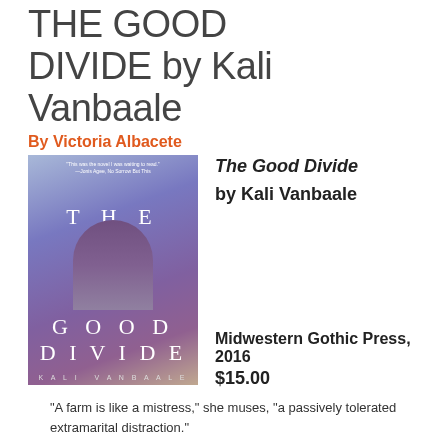THE GOOD DIVIDE by Kali Vanbaale
By Victoria Albacete
[Figure (illustration): Book cover for The Good Divide by Kali Vanbaale. Purple/blue toned cover with a woman in a checkered dress standing in a field. Title text reads THE GOOD DIVIDE in white serif letters.]
The Good Divide by Kali Vanbaale
Midwestern Gothic Press, 2016
$15.00
“A farm is like a mistress,” she muses, “a passively tolerated extramarital distraction.”